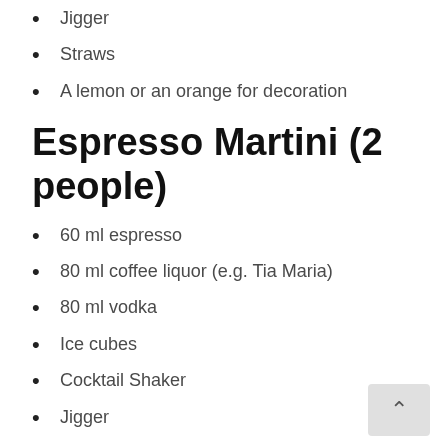Jigger
Straws
A lemon or an orange for decoration
Espresso Martini (2 people)
60 ml espresso
80 ml coffee liquor (e.g. Tia Maria)
80 ml vodka
Ice cubes
Cocktail Shaker
Jigger
Warm Apple Pie